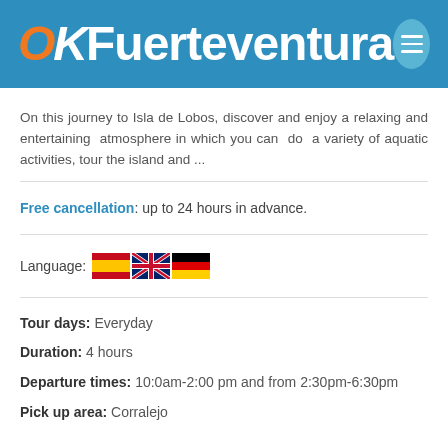OKFuerteventura
On this journey to Isla de Lobos, discover and enjoy a relaxing and entertaining atmosphere in which you can do a variety of aquatic activities, tour the island and ...
Free cancellation: up to 24 hours in advance.
Language: [Spanish flag] [UK flag] [German flag]
Tour days: Everyday
Duration: 4 hours
Departure times: 10:0am-2:00 pm and from 2:30pm-6:30pm
Pick up area: Corralejo